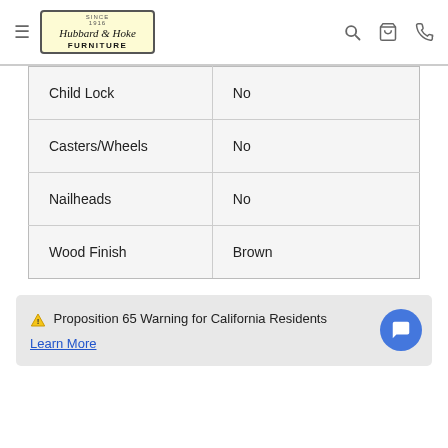Hubbard & Hoke Furniture
| Child Lock | No |
| Casters/Wheels | No |
| Nailheads | No |
| Wood Finish | Brown |
⚠ Proposition 65 Warning for California Residents
Learn More